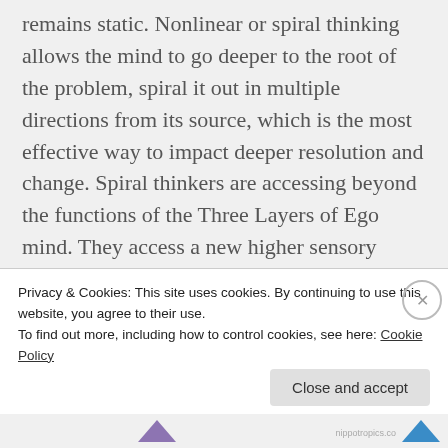remains static. Nonlinear or spiral thinking allows the mind to go deeper to the root of the problem, spiral it out in multiple directions from its source, which is the most effective way to impact deeper resolution and change. Spiral thinkers are accessing beyond the functions of the Three Layers of Ego mind. They access a new higher sensory ability through the contact made to the Higher Mind, which is a function of higher consciousness or spirit-energy intelligence. Training your mind to go
Privacy & Cookies: This site uses cookies. By continuing to use this website, you agree to their use.
To find out more, including how to control cookies, see here: Cookie Policy
Close and accept
nippotropics.co